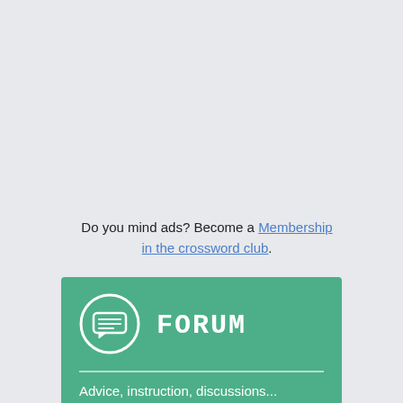Do you mind ads? Become a Membership in the crossword club.
[Figure (infographic): Green forum banner with a chat bubble icon and the word FORUM in large handwritten-style uppercase letters, followed by a horizontal divider and the subtitle 'Advice, instruction, discussions...']